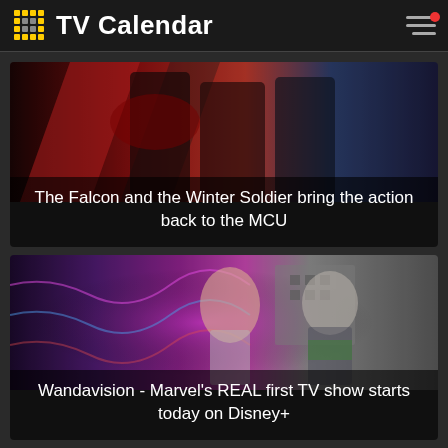TV Calendar
[Figure (screenshot): Promotional image for The Falcon and the Winter Soldier Marvel show with two characters in action poses against a red and blue background]
The Falcon and the Winter Soldier bring the action back to the MCU
[Figure (screenshot): Promotional image for WandaVision Marvel Disney+ show with two characters, one woman with red hair and one man in a suit, against a psychedelic background]
Wandavision - Marvel's REAL first TV show starts today on Disney+
Recently Watched